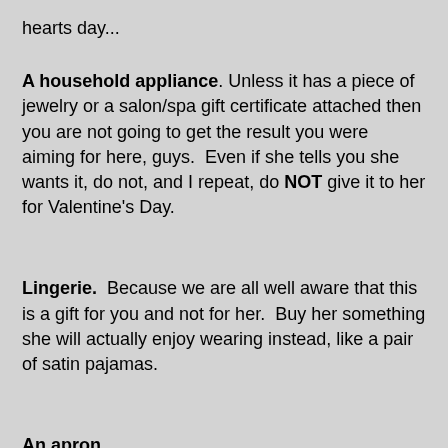hearts day...
A household appliance. Unless it has a piece of jewelry or a salon/spa gift certificate attached then you are not going to get the result you were aiming for here, guys.  Even if she tells you she wants it, do not, and I repeat, do NOT give it to her for Valentine's Day.
Lingerie.  Because we are all well aware that this is a gift for you and not for her.  Buy her something she will actually enjoy wearing instead, like a pair of satin pajamas.
An apron.
[Figure (photo): Broken image placeholder with small image icon in top-left corner]